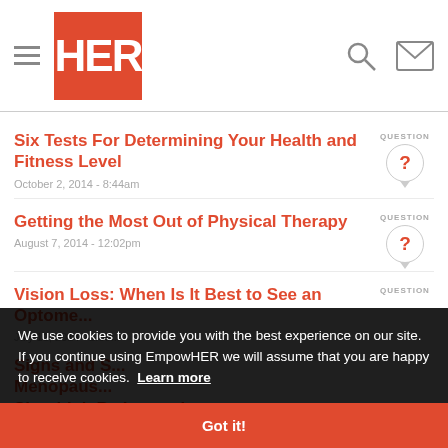HER
Six Tests For Determining Your Health and Fitness Level
October 2, 2014 - 8:44am
Getting the Most Out of Physical Therapy
August 7, 2014 - 12:02pm
Vision Loss: When Is It Best to See an Optome...
July 11, 2014 - 2:09...
Signs and S... Menopaus... Shouldn't Be Ignored
We use cookies to provide you with the best experience on our site. If you continue using EmpowHER we will assume that you are happy to receive cookies. Learn more
Got it!